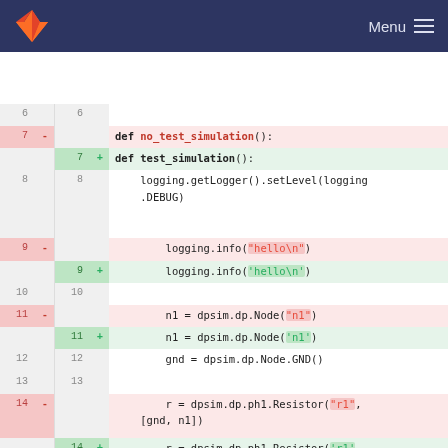GitLab — Menu
[Figure (screenshot): Code diff view showing Python test file changes. Lines 6-16 shown with removed lines (red background) and added lines (green background). Changes include renaming no_test_simulation to test_simulation, changing double-quoted strings to single-quoted strings in logging.info and Node/Resistor constructor calls.]